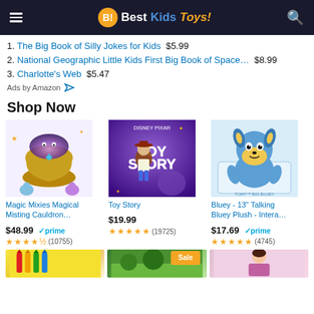BestKidsToys!
1. The Big Book of Silly Jokes for Kids  $5.99
2. National Geographic Little Kids First Big Book of Space…  $8.99
3. Charlotte's Web  $5.47
Ads by Amazon
Shop Now
[Figure (photo): Magic Mixies Magical Misting Cauldron toy product image]
Magic Mixies Magical Misting Cauldron…
$48.99 ✓prime
★★★★½ (10755)
[Figure (photo): Toy Story product image showing Woody character]
Toy Story
$19.99
★★★★★ (19725)
[Figure (photo): Bluey - 13 Talking Bluey Plush product image]
Bluey - 13" Talking Bluey Plush - Intera…
$17.69 ✓prime
★★★★★ (4745)